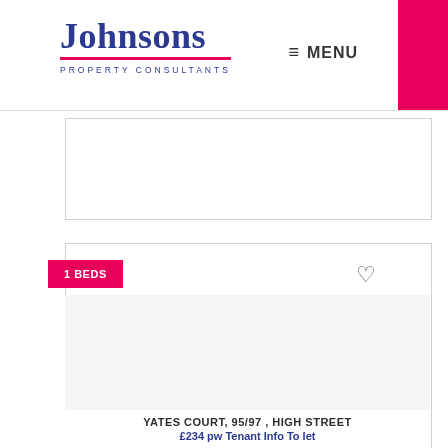[Figure (logo): Johnsons Property Consultants logo with blue text and pink underline]
≡  MENU
[Figure (photo): Partial property listing card (cut off at top)]
1 BEDS
[Figure (photo): Property photo area for Yates Court listing]
YATES COURT, 95/97 , HIGH STREET
£234 pw Tenant Info To let